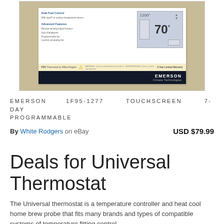[Figure (photo): Product photo of Emerson 1F95-1277 thermostat in box packaging, showing touchscreen display with 70 degrees, Dual Fuel Control and Advanced Features text, Emerson Climate Technologies branding on black bottom bar]
EMERSON 1F95-1277 TOUCHSCREEN 7-DAY PROGRAMMABLE
By White Rodgers on eBay  USD $79.99
Deals for Universal Thermostat
The Universal thermostat is a temperature controller and heat cool home brew probe that fits many brands and types of compatible systems of temperature fitting control.